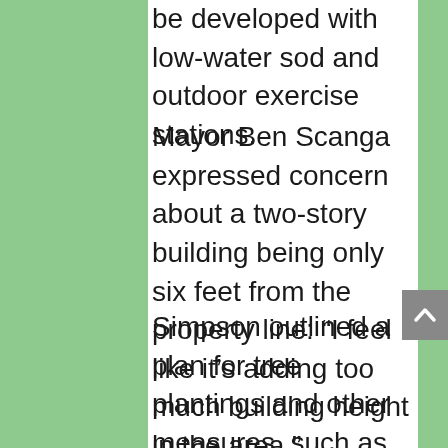be developed with low-water sod and outdoor exercise stations.
Mayor Ben Scanga expressed concern about a two-story building being only six feet from the property line: “I feel like it’s adding too much building height in the area.”
Simpson outlined a plan for tree plantings and other measures, such as frosted windows on the upstairs units, to allow privacy between the new building and surrounding houses. Nevertheless, Trustee Thomas Moore declared: “That space is not appropriate for the building